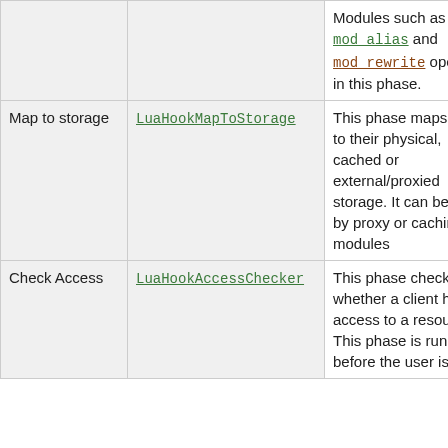| Phase | Hook/Directive | Description |
| --- | --- | --- |
|  |  | Modules such as mod_alias and mod_rewrite operate in this phase. |
| Map to storage | LuaHookMapToStorage | This phase maps files to their physical, cached or external/proxied storage. It can be used by proxy or caching modules |
| Check Access | LuaHookAccessChecker | This phase checks whether a client has access to a resource. This phase is run before the user is |